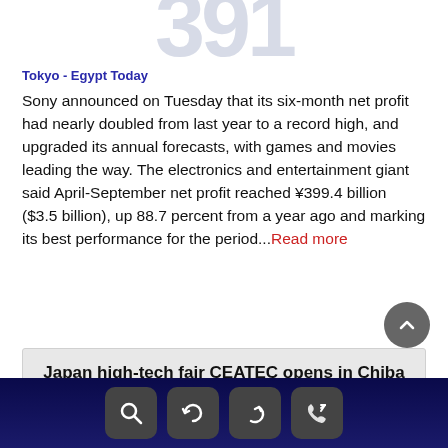[Figure (other): Partial large grey number (391 or similar) at top of page, cropped]
Tokyo - Egypt Today
Sony announced on Tuesday that its six-month net profit had nearly doubled from last year to a record high, and upgraded its annual forecasts, with games and movies leading the way. The electronics and entertainment giant said April-September net profit reached ¥399.4 billion ($3.5 billion), up 88.7 percent from a year ago and marking its best performance for the period....Read more
Japan high-tech fair CEATEC opens in Chiba
[Figure (screenshot): Scroll-to-top circular button (dark grey with upward chevron)]
Navigation footer bar with search, refresh, back, and call icons